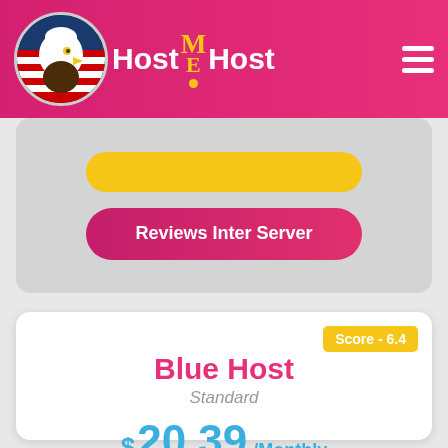Host ME Host
Reviews Inter Server
Score - 6.4
Blue Host
Standard
$20.39 /Monthly
[Figure (other): 3 out of 5 stars rating, showing 3 filled yellow stars and 2 gray stars]